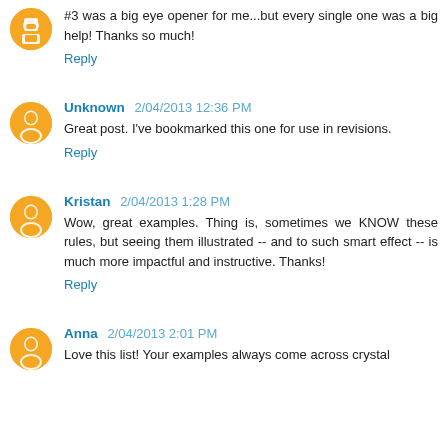#3 was a big eye opener for me...but every single one was a big help! Thanks so much!
Reply
Unknown 2/04/2013 12:36 PM
Great post. I've bookmarked this one for use in revisions.
Reply
Kristan 2/04/2013 1:28 PM
Wow, great examples. Thing is, sometimes we KNOW these rules, but seeing them illustrated -- and to such smart effect -- is much more impactful and instructive. Thanks!
Reply
Anna 2/04/2013 2:01 PM
Love this list! Your examples always come across crystal